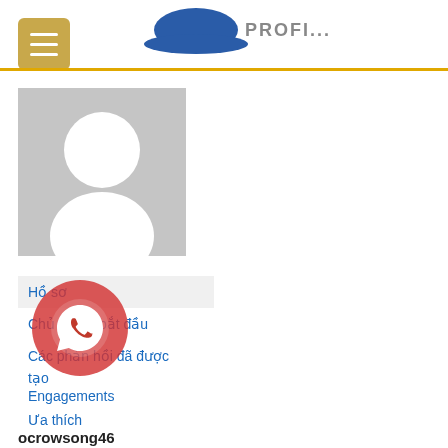[Figure (logo): Website logo with hat icon and text at top of page]
[Figure (photo): Default user profile avatar placeholder - grey background with white silhouette]
Hồ sơ
Chủ đề đã bắt đầu
Các phản hồi đã được tạo
Engagements
Ưa thích
ocrowsong46